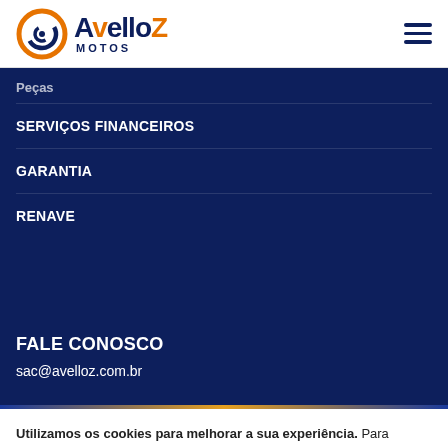[Figure (logo): Avelloz Motos logo with orange and dark blue circular swoosh icon and bold dark blue text 'AvelloZ MOTOS']
Peças
SERVIÇOS FINANCEIROS
GARANTIA
RENAVE
FALE CONOSCO
sac@avelloz.com.br
Utilizamos os cookies para melhorar a sua experiência. Para cumprir com a nova diretiva de privacidade, nós precisamos pedir seu consentimento para definir os cookies. Saiba mais.
Permitir Cookies